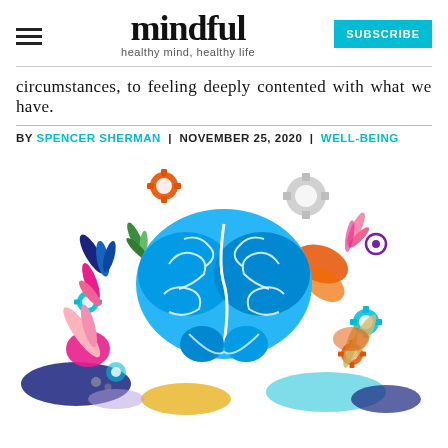mindful — healthy mind, healthy life | SUBSCRIBE
circumstances, to feeling deeply contented with what we have.
BY SPENCER SHERMAN | NOVEMBER 25, 2020 | WELL-BEING
[Figure (illustration): Colorful illustration of a blue brain viewed from above, surrounded by decorative plants, leaves, gears, and abstract organic shapes in pink, orange, teal, navy, and purple on a white background.]